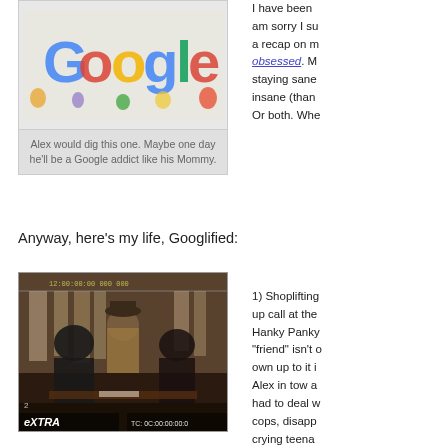[Figure (photo): Google Sesame Street doodle logo with Muppet characters surrounding colorful Google letters]
Alex would dig this one. Maybe one day he'll be a Google addict like his Mommy.
Anyway, here’s my life, Googlified:
[Figure (screenshot): Video still from EXTRA TV show showing people in what appears to be a store, with EXTRA logo watermark at bottom]
I have been am sorry I su a recap on m obsessed. M staying sane insane (than Or both. Whe
1) Shoplifting up call at the Hanky Panky “friend” isn’t o own up to it i Alex in tow a had to deal w cops, disapp crying teena call the girl’s daughter h